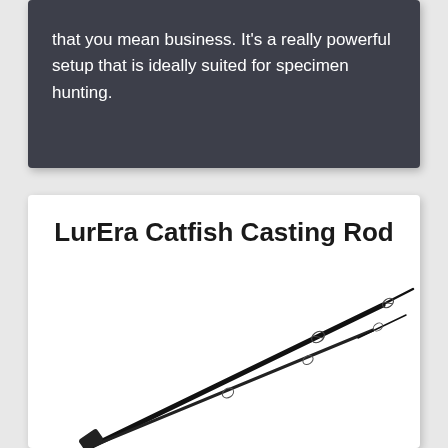that you mean business. It's a really powerful setup that is ideally suited for specimen hunting.
LurEra Catfish Casting Rod
[Figure (illustration): Two fishing rods (catfish casting rods) shown diagonally, dark/black colored, with guides visible, positioned from lower-left to upper-right against a white background.]